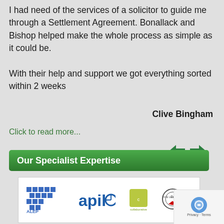I had need of the services of a solicitor to guide me through a Settlement Agreement. Bonallack and Bishop helped make the whole process as simple as it could be.

With their help and support we got everything sorted within 2 weeks
Clive Bingham
Click to read more...
[Figure (other): Left and right navigation arrow buttons in dark green]
Our Specialist Expertise
[Figure (logo): Logos of ALEP (Association of Leasehold Enfranchisement Practitioners), apil, collaborative family, and Conveyancing Quality scheme]
[Figure (other): Privacy - Terms reCAPTCHA badge]